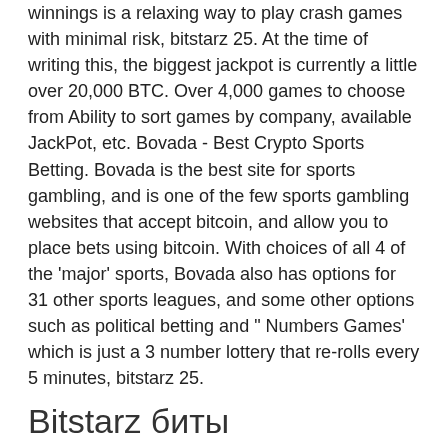winnings is a relaxing way to play crash games with minimal risk, bitstarz 25. At the time of writing this, the biggest jackpot is currently a little over 20,000 BTC. Over 4,000 games to choose from Ability to sort games by company, available JackPot, etc. Bovada - Best Crypto Sports Betting. Bovada is the best site for sports gambling, and is one of the few sports gambling websites that accept bitcoin, and allow you to place bets using bitcoin. With choices of all 4 of the 'major' sports, Bovada also has options for 31 other sports leagues, and some other options such as political betting and " Numbers Games' which is just a 3 number lottery that re-rolls every 5 minutes, bitstarz 25.
Bitstarz биты
Stevia del condado foro - perfil del usuario &gt; perfil página. Usuario: bitstarz casino 25 freispiele, is bitstarz rigged, título: new